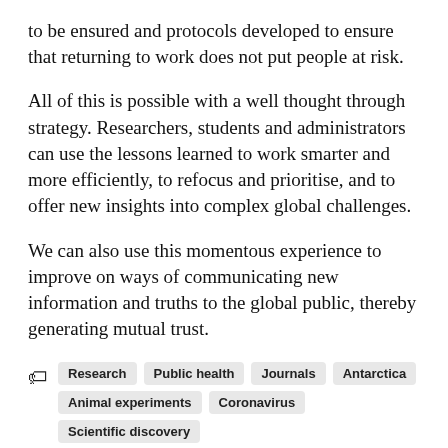to be ensured and protocols developed to ensure that returning to work does not put people at risk.
All of this is possible with a well thought through strategy. Researchers, students and administrators can use the lessons learned to work smarter and more efficiently, to refocus and prioritise, and to offer new insights into complex global challenges.
We can also use this momentous experience to improve on ways of communicating new information and truths to the global public, thereby generating mutual trust.
Research
Public health
Journals
Antarctica
Animal experiments
Coronavirus
Scientific discovery
Science and innovation for development
RandD
COVID-19
Lockdown